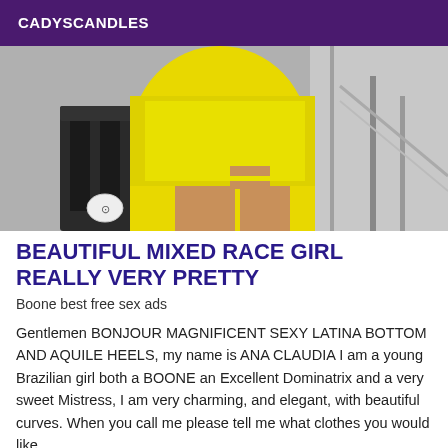CADYSCANDLES
[Figure (photo): Photo showing a person wearing yellow shorts/bottoms from behind, with chair and railing visible in background]
BEAUTIFUL MIXED RACE GIRL REALLY VERY PRETTY
Boone best free sex ads
Gentlemen BONJOUR MAGNIFICENT SEXY LATINA BOTTOM AND AQUILE HEELS, my name is ANA CLAUDIA I am a young Brazilian girl both a BOONE an Excellent Dominatrix and a very sweet Mistress, I am very charming, and elegant, with beautiful curves. When you call me please tell me what clothes you would like